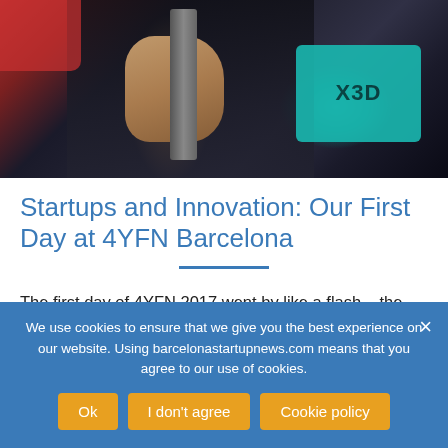[Figure (photo): Photo of a person holding bicycle handlebars at a tech event, with a teal digital signage display visible in the background showing 'X3D' branding]
Startups and Innovation: Our First Day at 4YFN Barcelona
The first day of 4YFN 2017 went by like a flash – the fourth edition of the MWC's tech startup event in Barcelona, with more than… more of this 'Events' post
We use cookies to ensure that we give you the best experience on our website. Using barcelonastartupnews.com means that you agree to our use of cookies.